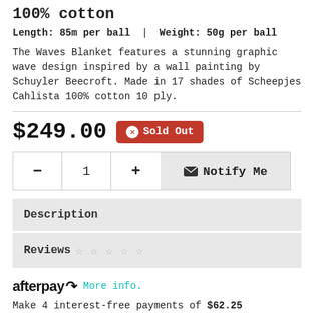100% cotton
Length: 85m per ball | Weight: 50g per ball
The Waves Blanket features a stunning graphic wave design inspired by a wall painting by Schuyler Beecroft. Made in 17 shades of Scheepjes Cahlista 100% cotton 10 ply.
$249.00 Sold Out
- 1 + Notify Me
Description
Reviews ☆ ☆ ☆ ☆ ☆
afterpay More info.
Make 4 interest-free payments of $62.25 fortnightly and receive your order now.